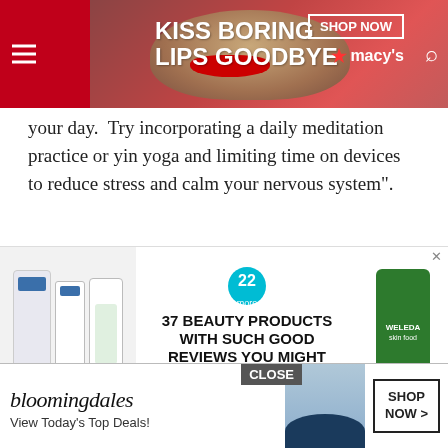[Figure (screenshot): Macy's banner ad: 'Kiss Boring Lips Goodbye' with a woman and red lipstick, red background, 'Shop Now' button, Macy's logo with star]
your day. Try incorporating a daily meditation practice or yin yoga and limiting time on devices to reduce stress and calm your nervous system".
[Figure (screenshot): Advertisement: '37 Beauty Products With Such Good Reviews You Might Want to Try Them Yourself' with Cetaphil and Weleda products, badge showing 22]
Boutch... at loss. S
Moyer AE, Rodin J, Grilo CM, Cummings N, Larson LM, Rebuffé-Scrive M. Stress-induced cortisol response and fat distribution in women. Obes Res. 1994 2:255-262.
Stanhope KL. Sugar consumption, metabolic dis... nd obesit... Sci. 2016 5...
[Figure (screenshot): Bloomingdale's ad with 'View Today's Top Deals!' and 'Shop Now >' button, model in blue hat. Close button overlay.]